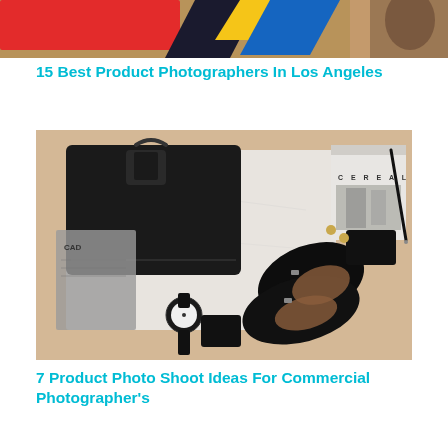[Figure (photo): Top banner photo showing partial scene with red and blue shapes, appears to be a cropped editorial/website header image]
15 Best Product Photographers In Los Angeles
[Figure (photo): Flat lay product photography showing a black leather briefcase/portfolio, men's black oxford dress shoes, a watch, a small black card holder/wallet, gold cufflinks, a black wallet, a Cereal magazine, a pen, and a newspaper arranged on a white marble surface]
7 Product Photo Shoot Ideas For Commercial Photographer's